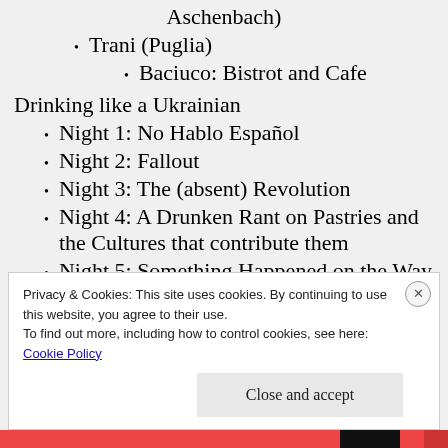Aschenbach)
Trani (Puglia)
Baciuco: Bistrot and Cafe
Drinking like a Ukrainian
Night 1: No Hablo Español
Night 2: Fallout
Night 3: The (absent) Revolution
Night 4: A Drunken Rant on Pastries and the Cultures that contribute them
Night 5: Something Happened on the Way to Yalta
English Lessons
Privacy & Cookies: This site uses cookies. By continuing to use this website, you agree to their use.
To find out more, including how to control cookies, see here: Cookie Policy
Close and accept